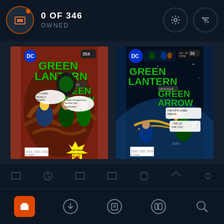0 OF 346 OWNED
[Figure (screenshot): Comic book collection app showing two Green Lantern / Green Arrow comic covers. Top bar shows '0 OF 346 OWNED' with settings and filter icons. Bottom navigation with collection, download, read, library, and search icons.]
[Figure (illustration): Green Lantern featuring Green Arrow comic cover - vintage DC Comics featuring characters entangled by tentacles with yellow lettering]
[Figure (illustration): Green Lantern versus Green Arrow comic cover - vintage DC Comics with characters in space battle, arrow firing scene, 35 cent cover price]